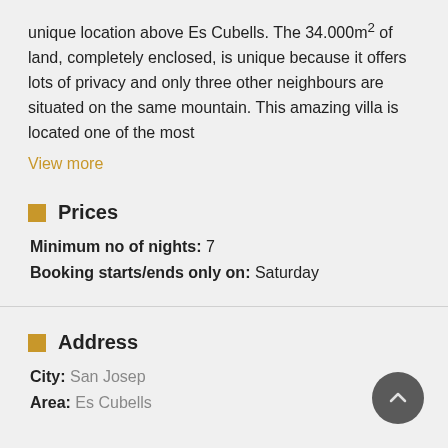unique location above Es Cubells. The 34.000m² of land, completely enclosed, is unique because it offers lots of privacy and only three other neighbours are situated on the same mountain. This amazing villa is located one of the most
View more
Prices
Minimum no of nights: 7
Booking starts/ends only on: Saturday
Address
City: San Josep
Area: Es Cubells